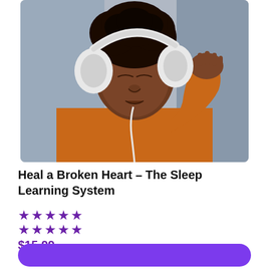[Figure (photo): Young Black man wearing white over-ear headphones and an orange sweatshirt, eyes closed, leaning against a grey wall, holding a white cord near his neck, listening to music peacefully.]
Heal a Broken Heart – The Sleep Learning System
★★★★★
★★★★★
$15.99